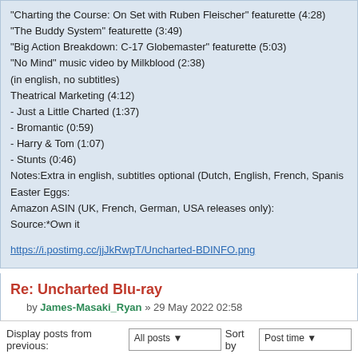"Charting the Course: On Set with Ruben Fleischer" featurette (4:28)
"The Buddy System" featurette (3:49)
"Big Action Breakdown: C-17 Globemaster" featurette (5:03)
"No Mind" music video by Milkblood (2:38)
(in english, no subtitles)
Theatrical Marketing (4:12)
- Just a Little Charted (1:37)
- Bromantic (0:59)
- Harry & Tom (1:07)
- Stunts (0:46)
Notes:Extra in english, subtitles optional (Dutch, English, French, Spanis…
Easter Eggs:
Amazon ASIN (UK, French, German, USA releases only):
Source:*Own it
https://i.postimg.cc/jjJkRwpT/Uncharted-BDINFO.png
Re: Uncharted Blu-ray
by James-Masaki_Ryan » 29 May 2022 02:58
Added, thank you.
Display posts from previous:   All posts ▾   Sort by   Post time ▾